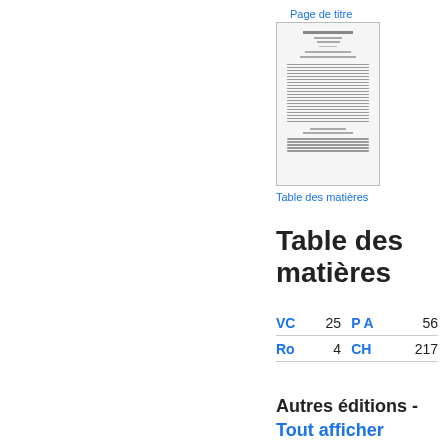Page de titre
[Figure (illustration): Thumbnail of a book title page showing dense text in French, historical document style]
Table des matières
Table des matières
|  |  |  |  |
| --- | --- | --- | --- |
| VC | 25 | P A | 56 |
| Ro | 4 | CH | 217 |
Autres éditions -
Tout afficher